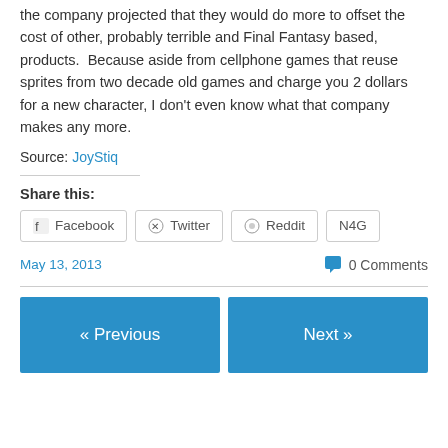the company projected that they would do more to offset the cost of other, probably terrible and Final Fantasy based, products. Because aside from cellphone games that reuse sprites from two decade old games and charge you 2 dollars for a new character, I don't even know what that company makes any more.
Source: JoyStiq
Share this:
Facebook
Twitter
Reddit
N4G
May 13, 2013
0 Comments
« Previous
Next »